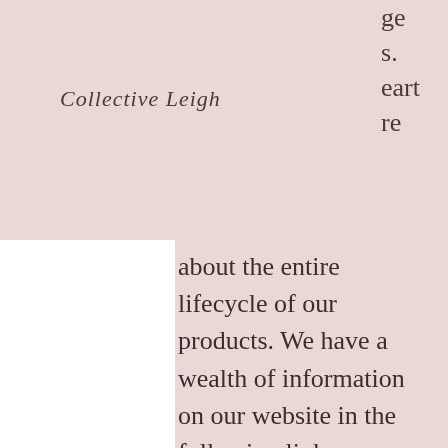Collective Leigh
ge
s.
eart
re
about the entire lifecycle of our products. We have a wealth of information on our website in the following links:
https://ethiqueworld.com/pages/plastic-free
https://ethiqueworld.com/pages/carbon-neutral
https://ethiqueworld.com/pages/direct-trade
https://ethiqueworld.com/pages/palm-oil-free
https://ethiqueworld.com/pages/cr